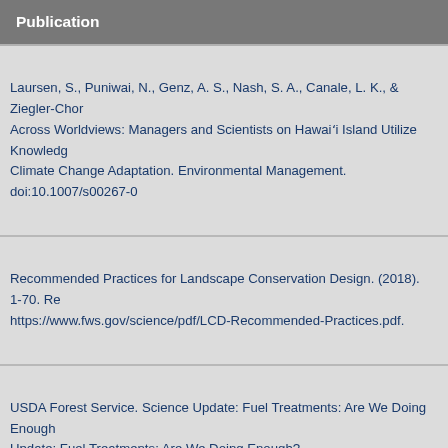Publication
Laursen, S., Puniwai, N., Genz, A. S., Nash, S. A., Canale, L. K., & Ziegler-Chong Across Worldviews: Managers and Scientists on Hawai'i Island Utilize Knowledge Climate Change Adaptation. Environmental Management. doi:10.1007/s00267-0
Recommended Practices for Landscape Conservation Design. (2018). 1-70. Retrieved from https://www.fws.gov/science/pdf/LCD-Recommended-Practices.pdf.
USDA Forest Service. Science Update: Fuel Treatments: Are We Doing Enough? Science Update: Fuel Treatments: Are We Doing Enough?